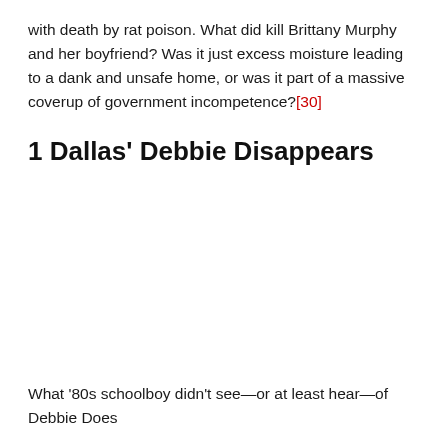with death by rat poison. What did kill Brittany Murphy and her boyfriend? Was it just excess moisture leading to a dank and unsafe home, or was it part of a massive coverup of government incompetence?[30]
1 Dallas' Debbie Disappears
What '80s schoolboy didn't see—or at least hear—of Debbie Does